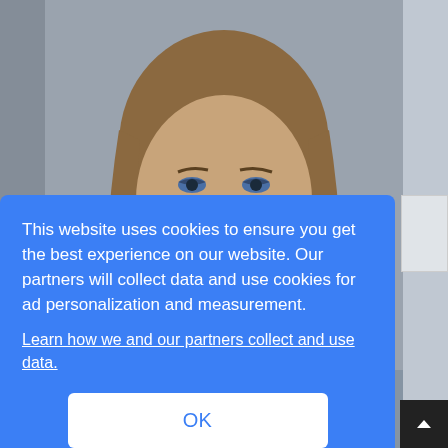[Figure (photo): Close-up photo of a young woman with long straight brown hair, blue eyes, and dangly gold earrings, against a gray background. Partially obscured by cookie consent overlay.]
This website uses cookies to ensure you get the best experience on our website. Our partners will collect data and use cookies for ad personalization and measurement.
Learn how we and our partners collect and use data.
OK